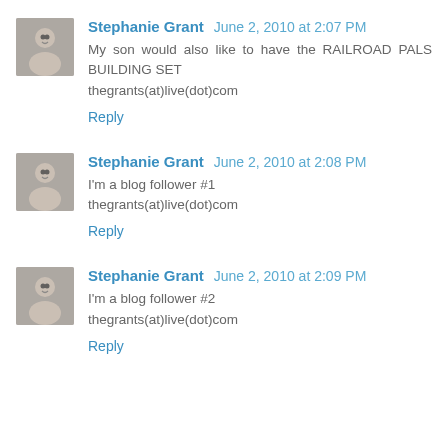Stephanie Grant  June 2, 2010 at 2:07 PM
My son would also like to have the RAILROAD PALS BUILDING SET
thegrants(at)live(dot)com
Reply
Stephanie Grant  June 2, 2010 at 2:08 PM
I'm a blog follower #1
thegrants(at)live(dot)com
Reply
Stephanie Grant  June 2, 2010 at 2:09 PM
I'm a blog follower #2
thegrants(at)live(dot)com
Reply